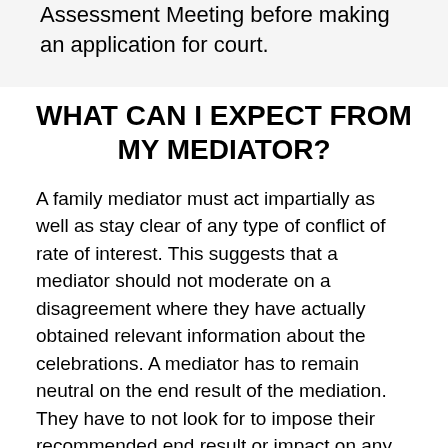Assessment Meeting before making an application for court.
WHAT CAN I EXPECT FROM MY MEDIATOR?
A family mediator must act impartially as well as stay clear of any type of conflict of rate of interest. This suggests that a mediator should not moderate on a disagreement where they have actually obtained relevant information about the celebrations. A mediator has to remain neutral on the end result of the mediation. They have to not look for to impose their recommended end result or impact on any of the celebrations.
You should additionally expect the mediator to